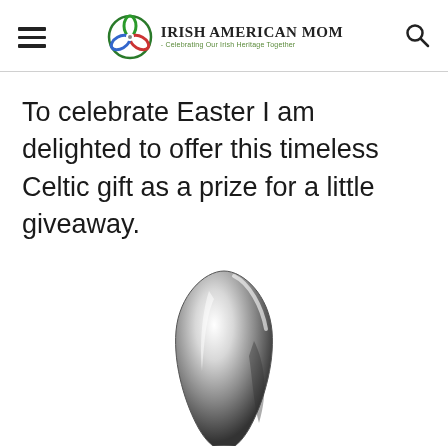Irish American Mom - Celebrating Our Irish Heritage Together
To celebrate Easter I am delighted to offer this timeless Celtic gift as a prize for a little giveaway.
[Figure (photo): A crystal glass vase or sculpture with Celtic design, photographed in black and white against a white background, with a faint reflection visible below.]